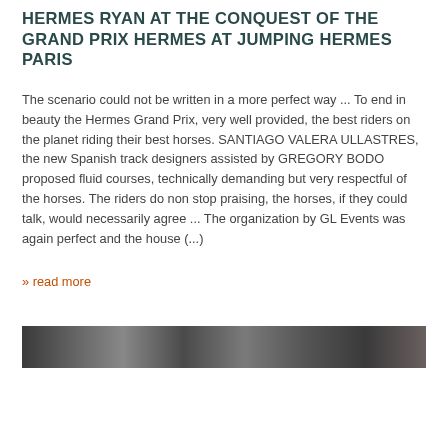HERMES RYAN AT THE CONQUEST OF THE GRAND PRIX HERMES AT JUMPING HERMES PARIS
The scenario could not be written in a more perfect way ... To end in beauty the Hermes Grand Prix, very well provided, the best riders on the planet riding their best horses. SANTIAGO VALERA ULLASTRES, the new Spanish track designers assisted by GREGORY BODO proposed fluid courses, technically demanding but very respectful of the horses. The riders do non stop praising, the horses, if they could talk, would necessarily agree ... The organization by GL Events was again perfect and the house (...)
» read more
[Figure (photo): A horizontal photo strip showing a crowd or group of people, dark and partially visible at the bottom of the page.]